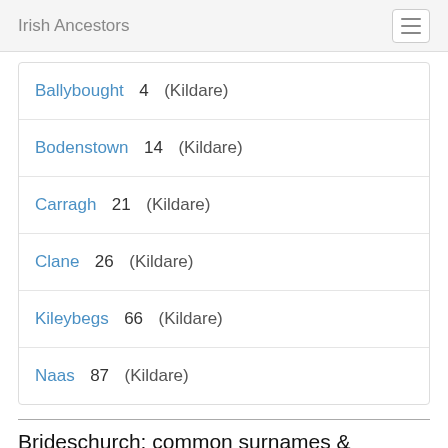Irish Ancestors
Ballybought   4   (Kildare)
Bodenstown   14   (Kildare)
Carragh   21   (Kildare)
Clane   26   (Kildare)
Kileybegs   66   (Kildare)
Naas   87   (Kildare)
Brideschurch: common surnames & households
McDonnell   3
Roarke   3